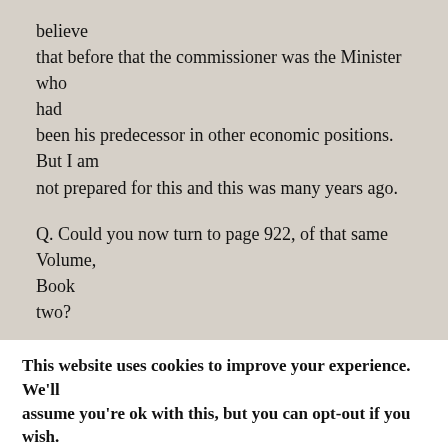believe that before that the commissioner was the Minister who had been his predecessor in other economic positions. But I am not prepared for this and this was many years ago.
Q. Could you now turn to page 922, of that same Volume, Book two?
A. "Dritte Bekanntmachung ueber den Kennkartenzwang." (Third Proclamation about the Compulsory Carrying of identity
This website uses cookies to improve your experience. We'll assume you're ok with this, but you can opt-out if you wish.